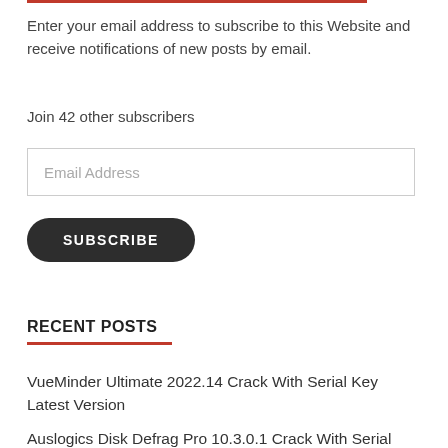Enter your email address to subscribe to this Website and receive notifications of new posts by email.
Join 42 other subscribers
Email Address
SUBSCRIBE
RECENT POSTS
VueMinder Ultimate 2022.14 Crack With Serial Key Latest Version
Auslogics Disk Defrag Pro 10.3.0.1 Crack With Serial